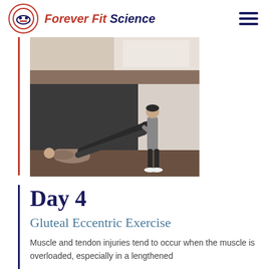Forever Fit Science
[Figure (photo): Two-part exercise photo: top portion shows a room/gym setting, bottom portion shows a trainer assisting a person lying on the floor doing a gluteal eccentric exercise, pulling their leg upward.]
Day 4
Gluteal Eccentric Exercise
Muscle and tendon injuries tend to occur when the muscle is overloaded, especially in a lengthened